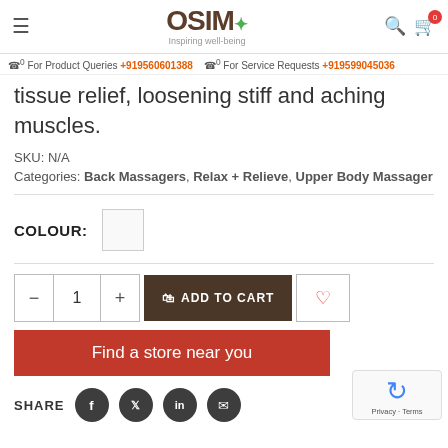OSIM — Inspiring well-being | For Product Queries +919560601388 | For Service Requests +919599045036
tissue relief, loosening stiff and aching muscles.
SKU: N/A
Categories: Back Massagers, Relax + Relieve, Upper Body Massager
COLOUR:
ADD TO CART
Find a store near you
SHARE